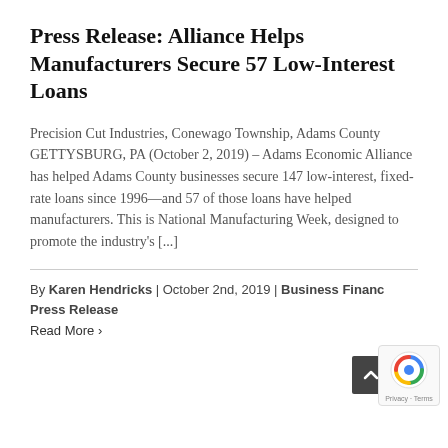Press Release: Alliance Helps Manufacturers Secure 57 Low-Interest Loans
Precision Cut Industries, Conewago Township, Adams County GETTYSBURG, PA (October 2, 2019) – Adams Economic Alliance has helped Adams County businesses secure 147 low-interest, fixed-rate loans since 1996—and 57 of those loans have helped manufacturers. This is National Manufacturing Week, designed to promote the industry's [...]
By Karen Hendricks | October 2nd, 2019 | Business Finance, Press Release
Read More >